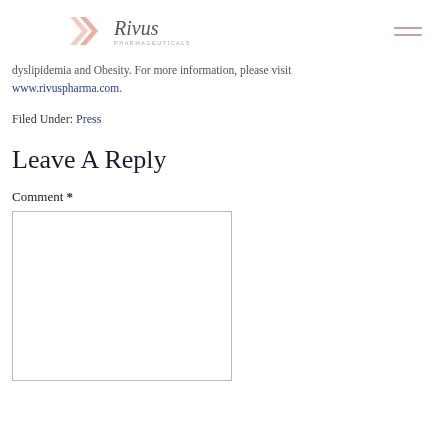Rivus Pharmaceuticals
dyslipidemia and Obesity. For more information, please visit www.rivuspharma.com.
Filed Under: Press
Leave A Reply
Comment *